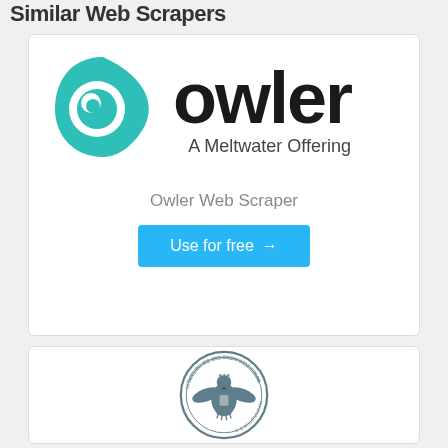Similar Web Scrapers
[Figure (logo): Owler logo - teal owl eye icon with 'owler' wordmark and 'A Meltwater Offering' subtitle]
Owler Web Scraper
Use for free →
[Figure (logo): Securities and Exchange Commission (SEC) circular seal with eagle emblem]